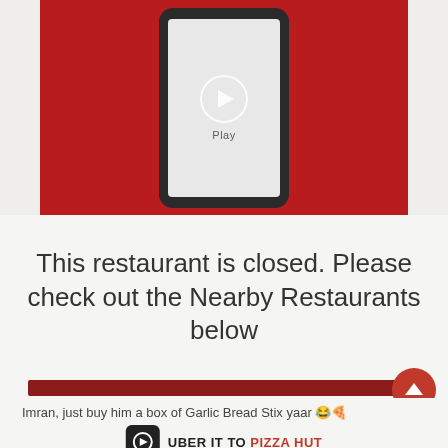[Figure (screenshot): A smartphone with a video play button on screen, set against a red background. Below the play circle icon is the word 'Play'.]
This restaurant is closed. Please check out the Nearby Restaurants below
[Figure (infographic): Uber Eats banner: Uber logo icon followed by text 'UBER IT TO PIZZA HUT' where Pizza Hut is in red]
Imran, just buy him a box of Garlic Bread Stix yaar 😂🍕